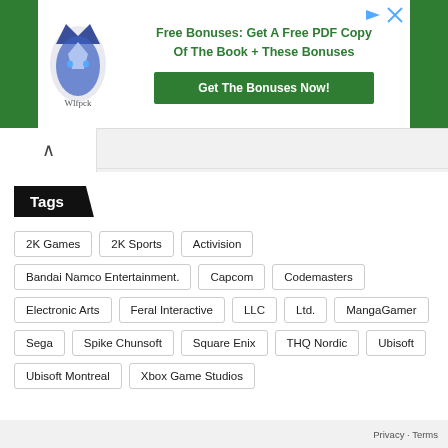[Figure (infographic): Advertisement banner with wolf logo, green text 'Free Bonuses: Get A Free PDF Copy Of The Book + These Bonuses' and green button 'Get The Bonuses Now!']
Tags
2K Games
2K Sports
Activision
Bandai Namco Entertainment.
Capcom
Codemasters
Electronic Arts
Feral Interactive
LLC
Ltd.
MangaGamer
Sega
Spike Chunsoft
Square Enix
THQ Nordic
Ubisoft
Ubisoft Montreal
Xbox Game Studios
Privacy · Terms